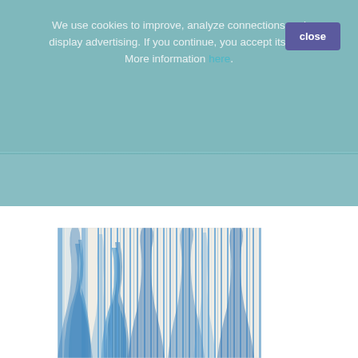We use cookies to improve, analyze connections and display advertising. If you continue, you accept its use. More information here.
[Figure (photo): Blue and white ikat pattern textile/fabric with vertical wavy stripe design in shades of blue on cream/white background]